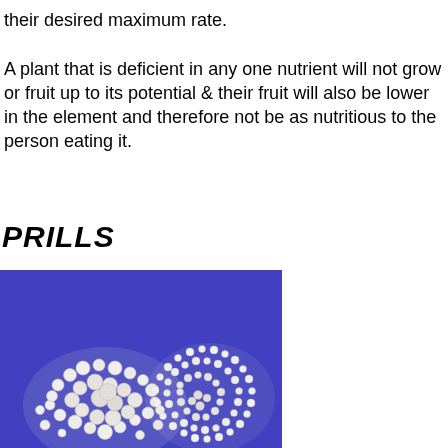their desired maximum rate.

A plant that is deficient in any one nutrient will not grow or fruit up to its potential & their fruit will also be lower in the element and therefore not be as nutritious to the person eating it.
PRILLS
[Figure (photo): Two piles of white prills (small spherical fertilizer beads) on a blue background. The left pile has larger, more varied size prills and the right pile has smaller, more uniform prills.]